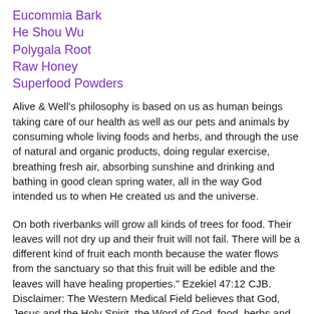Eucommia Bark
He Shou Wu
Polygala Root
Raw Honey
Superfood Powders
Alive & Well's philosophy is based on us as human beings taking care of our health as well as our pets and animals by consuming whole living foods and herbs, and through the use of natural and organic products, doing regular exercise, breathing fresh air, absorbing sunshine and drinking and bathing in good clean spring water, all in the way God intended us to when He created us and the universe.
On both riverbanks will grow all kinds of trees for food. Their leaves will not dry up and their fruit will not fail. There will be a different kind of fruit each month because the water flows from the sanctuary so that this fruit will be edible and the leaves will have healing properties." Ezekiel 47:12 CJB. Disclaimer: The Western Medical Field believes that God, Jesus and the Holy Spirit, the Word of God, food, herbs and frequencies have nothing to do with the health of the body. We believe that God, Jesus and the Holy Spirit, the Word of God, food, herbs and frequencies all work together to create harmony and health in the human body the way God intended it to be and how we were created the way...